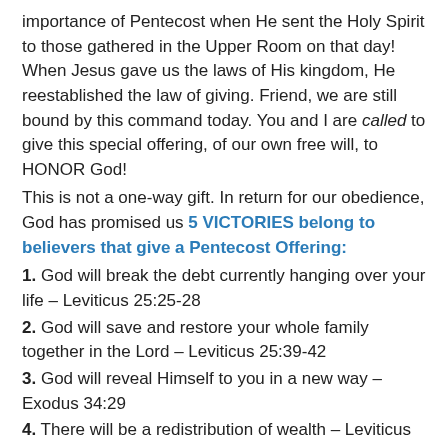importance of Pentecost when He sent the Holy Spirit to those gathered in the Upper Room on that day! When Jesus gave us the laws of His kingdom, He reestablished the law of giving. Friend, we are still bound by this command today. You and I are called to give this special offering, of our own free will, to HONOR God!
This is not a one-way gift. In return for our obedience, God has promised us 5 VICTORIES belong to believers that give a Pentecost Offering:
1. God will break the debt currently hanging over your life – Leviticus 25:25-28
2. God will save and restore your whole family together in the Lord – Leviticus 25:39-42
3. God will reveal Himself to you in a new way – Exodus 34:29
4. There will be a redistribution of wealth – Leviticus 23:22
5. You will have power over weakness – Acts 1:8